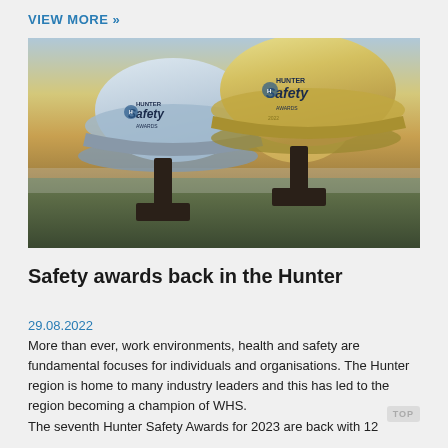VIEW MORE »
[Figure (photo): Two Hunter Safety Awards hard hats displayed on dark pedestals in a field at sunset. The left hat is white/light blue and the right hat is yellow/gold, both branded with 'HUNTER Safety AWARDS' text.]
Safety awards back in the Hunter
29.08.2022
More than ever, work environments, health and safety are fundamental focuses for individuals and organisations. The Hunter region is home to many industry leaders and this has led to the region becoming a champion of WHS.
The seventh Hunter Safety Awards for 2023 are back with 12...